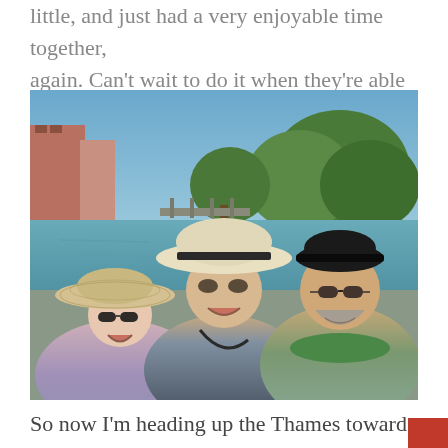little, and just had a very enjoyable time together, again. Can't wait to do it when they're able to.
[Figure (photo): Selfie photo of three people smiling near a river (Thames). A man in the center wears a white/cream wide-brim hat and dark shirt. A woman on the left wears a wide-brim straw hat and sunglasses. A man on the right wears a black baseball cap and sunglasses with a green-trimmed grey shirt. Background shows a river with a dock/pier, trees, and red-brick buildings on a sunny day.]
So now I'm heading up the Thames toward Oxford. As fast as I can. It's not that I don't like the Thames, it's beautiful countryside, it's just not a friendly little